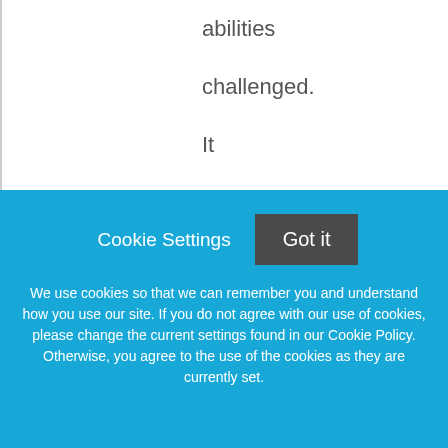abilities challenged. It is a place where your diversity — of
Cookie Settings  Got it
We use cookies so that we can remember you and understand how you use our site. If you do not agree with our use of cookies, please change the current settings found in our Cookie Policy. Otherwise, you agree to the use of the cookies as they are currently set.